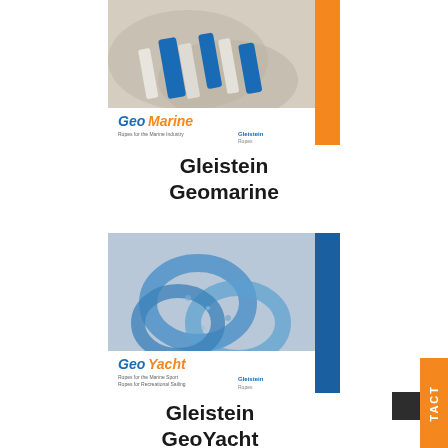[Figure (photo): GeoMarine product catalog cover showing braided rope with blue pattern and orange accent stripe on right side. Brand text 'GeoMarine' in blue/orange italic, Gleistein Ropes logo at bottom.]
Gleistein
Geomarine
[Figure (photo): GeoYacht product catalog cover showing blue speckled rope loops with blue accent stripe on right side. Brand text 'GeoYacht' in blue/orange italic, Gleistein Ropes logo at bottom.]
Gleistein
GeoYacht